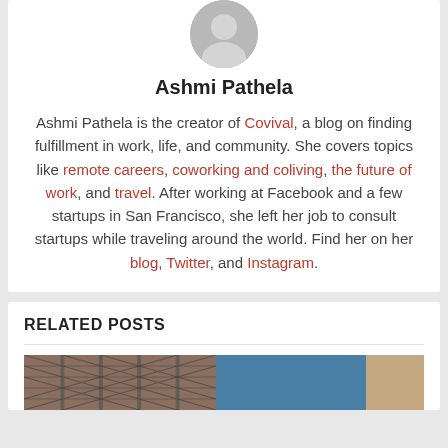[Figure (photo): Circular avatar/profile picture placeholder with grey background showing a generic person silhouette icon]
Ashmi Pathela
Ashmi Pathela is the creator of Covival, a blog on finding fulfillment in work, life, and community. She covers topics like remote careers, coworking and coliving, the future of work, and travel. After working at Facebook and a few startups in San Francisco, she left her job to consult startups while traveling around the world. Find her on her blog, Twitter, and Instagram.
RELATED POSTS
[Figure (photo): A photograph showing a decorative lattice window on the left side and a blue-toned interior space with a cardboard box on the right side]